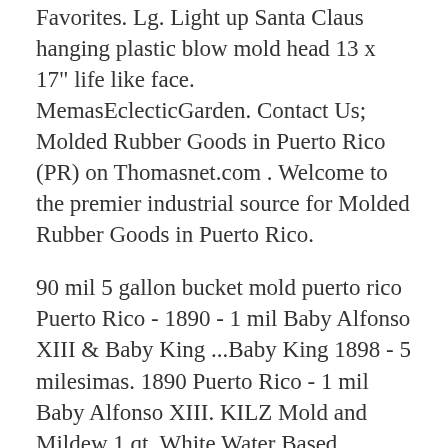Favorites. Lg. Light up Santa Claus hanging plastic blow mold head 13 x 17" life like face. MemasEclecticGarden. Contact Us; Molded Rubber Goods in Puerto Rico (PR) on Thomasnet.com . Welcome to the premier industrial source for Molded Rubber Goods in Puerto Rico.
90 mil 5 gallon bucket mold puerto rico Puerto Rico - 1890 - 1 mil Baby Alfonso XIII & Baby King ...Baby King 1898 - 5 milesimas. 1890 Puerto Rico - 1 mil Baby Alfonso XIII. KILZ Mold and Mildew 1 qt. White Water Based Interior and ...2021-8-17 · This mold and mildew resistant film protects the primer film, sanitizes the surface it is applied to against fungi organisms and helps ensure a fungi-free primed surface for painting.
Mold & Mildew - Review of Dreams Hotel Puerto Rico, San Juan ... Jul 07, 2021 · The rooms are spacious and the location is wonderful, right near the university and with lots of great neighborhoods. However, the mold of the...